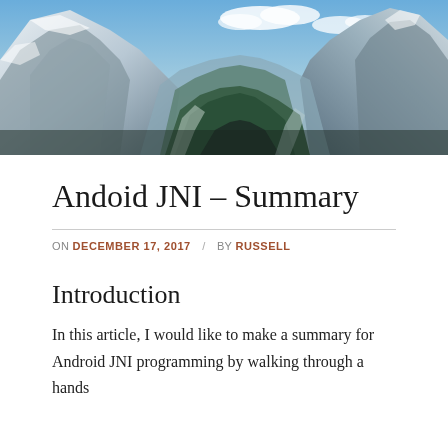[Figure (photo): Mountain landscape photograph showing snow-capped peaks with a valley in the center, trees on the slopes, blue sky with clouds.]
Andoid JNI – Summary
ON DECEMBER 17, 2017 / BY RUSSELL
Introduction
In this article, I would like to make a summary for Android JNI programming by walking through a hands